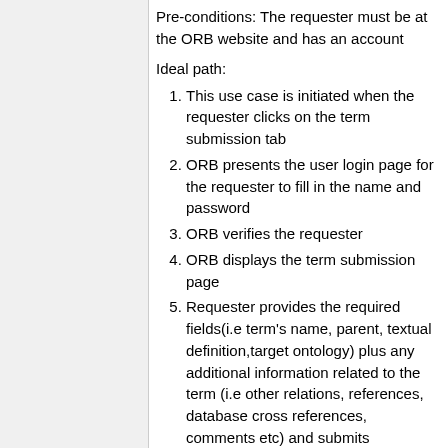Pre-conditions: The requester must be at the ORB website and has an account
Ideal path:
1. This use case is initiated when the requester clicks on the term submission tab
2. ORB presents the user login page for the requester to fill in the name and password
3. ORB verifies the requester
4. ORB displays the term submission page
5. Requester provides the required fields(i.e term's name, parent, textual definition,target ontology) plus any additional information related to the term (i.e other relations, references, database cross references, comments etc) and submits
6. ORB verifies the submission
7. ORB assigns a temporary ID to the term and presents it the requester
8. ORB sends the requested term's